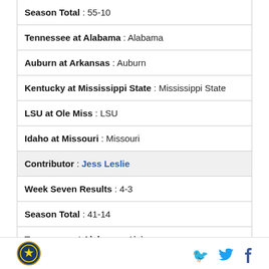Season Total : 55-10
Tennessee at Alabama : Alabama
Auburn at Arkansas : Auburn
Kentucky at Mississippi State : Mississippi State
LSU at Ole Miss : LSU
Idaho at Missouri : Missouri
Contributor : Jess Leslie
Week Seven Results : 4-3
Season Total : 41-14
Tennessee at Alabama : Alabama
Auburn at Arkansas : Auburn